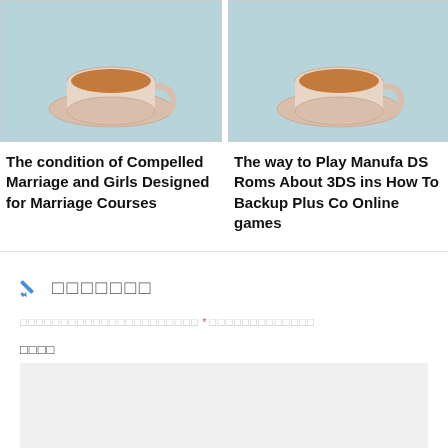[Figure (photo): Top-down photo of a tea/coffee cup on a saucer against a light blue background (left card)]
The condition of Compelled Marriage and Girls Designed for Marriage Courses
[Figure (photo): Top-down photo of a tea/coffee cup on a saucer against a light blue background (right card, partially cropped)]
The way to Play Manufacturer DS Roms About 3DS ins How To Backup Plus Co Online games
✏ ░░░░░░░
░░░░░░░░░░░░░░░░░░░░░░ * ░░░░░░░░░░░░░
░░░░
[comment textarea]